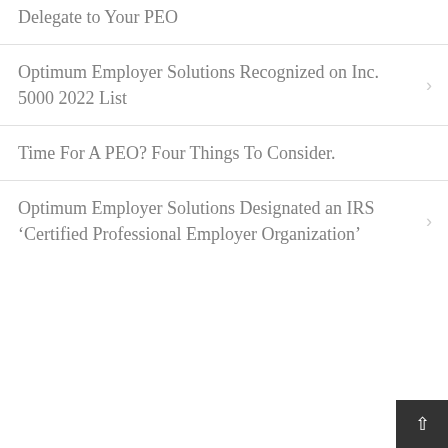Delegate to Your PEO
Optimum Employer Solutions Recognized on Inc. 5000 2022 List
Time For A PEO? Four Things To Consider.
Optimum Employer Solutions Designated an IRS ‘Certified Professional Employer Organization’